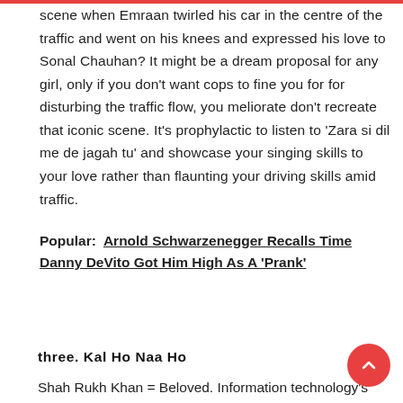scene when Emraan twirled his car in the centre of the traffic and went on his knees and expressed his love to Sonal Chauhan? It might be a dream proposal for any girl, only if you don't want cops to fine you for for disturbing the traffic flow, you meliorate don't recreate that iconic scene. It's prophylactic to listen to 'Zara si dil me de jagah tu' and showcase your singing skills to your love rather than flaunting your driving skills amid traffic.
Popular:  Arnold Schwarzenegger Recalls Time Danny DeVito Got Him High As A 'Prank'
three. Kal Ho Naa Ho
Shah Rukh Khan = Beloved. Information technology's